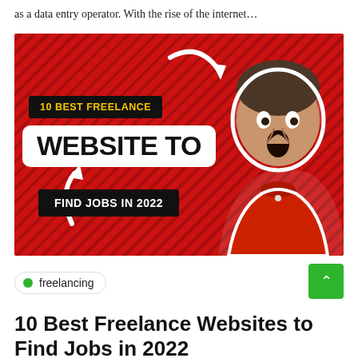as a data entry operator. With the rise of the internet…
[Figure (photo): Thumbnail image with red background and diagonal stripe pattern. Left side shows two black badge labels: '10 BEST FREELANCE' in yellow text, and 'FIND JOBS IN 2022' in white text. Center shows a white rounded rectangle with bold black text 'WEBSITE TO'. White arrow graphics point to the text boxes. Right side shows a man with a surprised/excited expression wearing a red shirt, with a white outline cutout effect.]
freelancing
10 Best Freelance Websites to Find Jobs in 2022